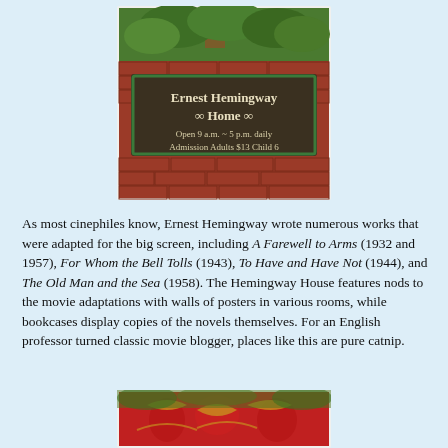[Figure (photo): Photo of a wooden sign reading 'Ernest Hemingway Home' with decorative symbols, mounted on a brick wall with green trim. Sign text: Open 9 a.m. ~ 5 p.m. daily / Admission Adults $13 Child 6. Green foliage visible above.]
As most cinephiles know, Ernest Hemingway wrote numerous works that were adapted for the big screen, including A Farewell to Arms (1932 and 1957), For Whom the Bell Tolls (1943), To Have and Have Not (1944), and The Old Man and the Sea (1958). The Hemingway House features nods to the movie adaptations with walls of posters in various rooms, while bookcases display copies of the novels themselves. For an English professor turned classic movie blogger, places like this are pure catnip.
[Figure (photo): Partial photo at bottom showing red patterned fabric or decorative items in red and gold colors with green foliage in background.]